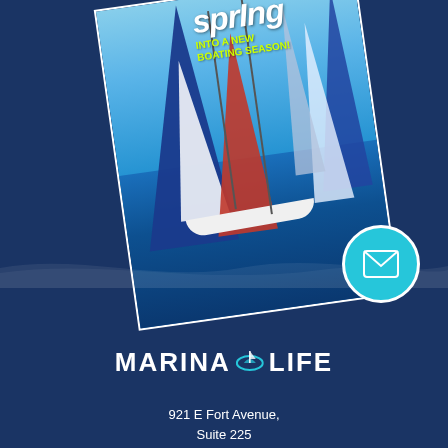[Figure (illustration): A tilted sailing magazine cover showing multiple sailboats with colorful spinnakers racing on open water. The cover has text reading 'sprING INTO A NEW BOATING SEASON!' in yellow/white text. The image is angled/rotated against a dark navy blue background.]
[Figure (illustration): A teal/cyan circular email icon button with a white envelope symbol and white circular border, positioned in the lower right area of the page.]
MARINA LIFE
921 E Fort Avenue,
Suite 225